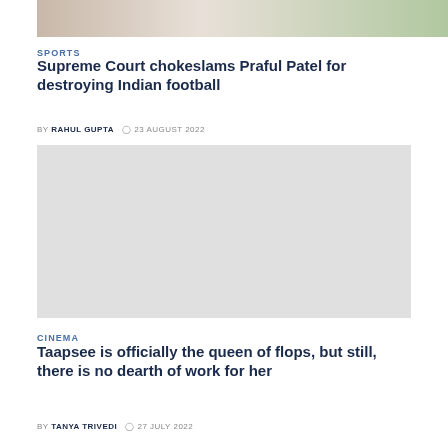[Figure (photo): Partial photo at top of page, cropped, showing clothing and background]
SPORTS
Supreme Court chokeslams Praful Patel for destroying Indian football
BY RAHUL GUPTA  ⊙ 23 AUGUST 2022
[Figure (photo): Gray placeholder image for the second article]
CINEMA
Taapsee is officially the queen of flops, but still, there is no dearth of work for her
BY TANYA TRIVEDI  ⊙ 27 JULY 2022